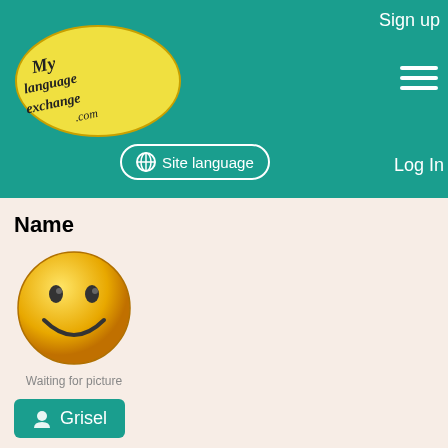Sign up | Site language | Log In
[Figure (logo): MyLanguageExchange.com logo — yellow oval with decorative script text]
Name
[Figure (illustration): Yellow smiley face placeholder image with caption 'Waiting for picture']
Grisel
Add to Favorites
July 25, 2010
Country(City)
United States (Patterson)
Native Language
Spanish
Practicing Language